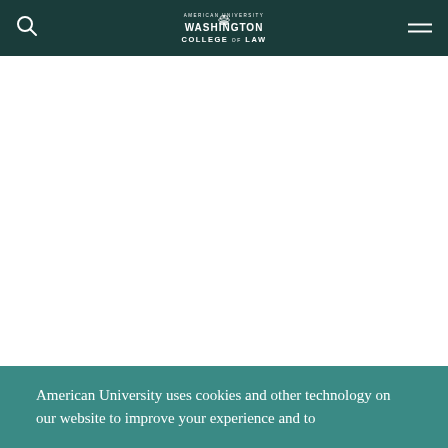American University Washington College of Law
[Figure (logo): American University Washington College of Law logo with Capitol building icon, white text on dark teal background]
American University uses cookies and other technology on our website to improve your experience and to